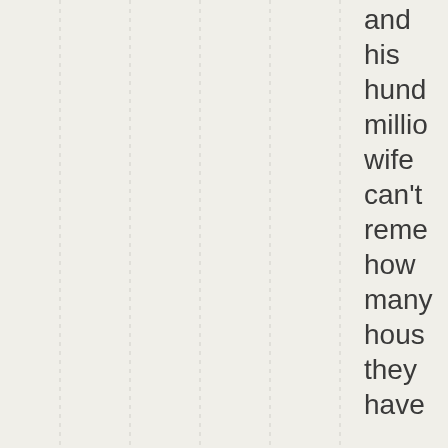and his hund millio wife can't reme how many hous they have